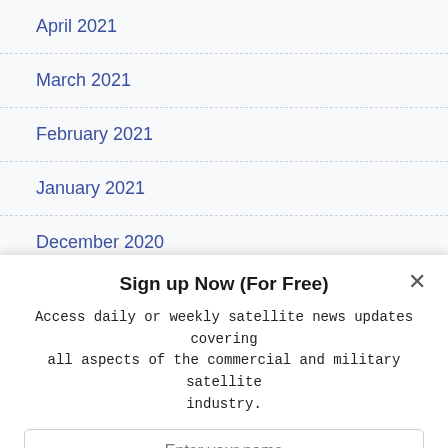April 2021
March 2021
February 2021
January 2021
December 2020
Sign up Now (For Free)
Access daily or weekly satellite news updates covering all aspects of the commercial and military satellite industry.
Enter your name